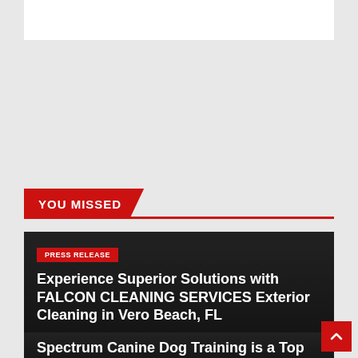YOU MISSED
PRESS RELEASE
Experience Superior Solutions with FALCON CLEANING SERVICES Exterior Cleaning in Vero Beach, FL
AUG 23, 2022   ARLENE HUFF
Spectrum Canine Dog Training is a Top Choice Dog